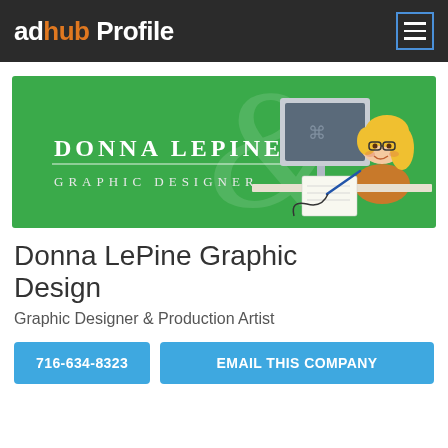adhub Profile
[Figure (illustration): Green banner for Donna LePine Graphic Designer showing a cartoon blonde woman with glasses working at a computer, with decorative ampersand watermark in background]
Donna LePine Graphic Design
Graphic Designer & Production Artist
716-634-8323
EMAIL THIS COMPANY